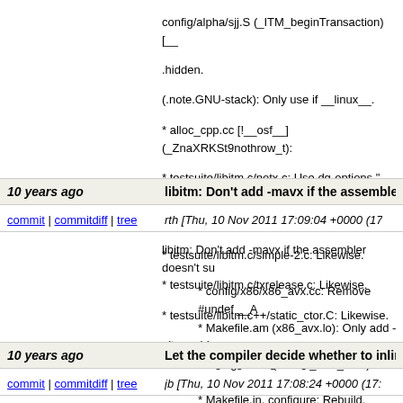config/alpha/sjj.S (_ITM_beginTransaction) [__...hidden. (.note.GNU-stack): Only use if __linux__. * alloc_cpp.cc [!__osf__] (_ZnaXRKSt9nothrow_t): * testsuite/libitm.c/notx.c: Use dg-options "-pthread * testsuite/libitm.c/reentrant.c: Likewise. * testsuite/libitm.c/simple-2.c: Likewise. * testsuite/libitm.c/txrelease.c: Likewise. * testsuite/libitm.c++/static_ctor.C: Likewise. git-svn-id: svn+ssh://gcc.gnu.org/svn/gcc/trunk@1
10 years ago | libitm: Don't add -mavx if the assembler doesn't
commit | commitdiff | tree | rth [Thu, 10 Nov 2011 17:09:04 +0000 (17
libitm: Don't add -mavx if the assembler doesn't su * config/x86/x86_avx.cc: Remove #undef __A * Makefile.am (x86_avx.lo): Only add -mavx i * configure.ac (ARCH_X86_AVX): New condi * Makefile.in, configure: Rebuild. git-svn-id: svn+ssh://gcc.gnu.org/svn/gcc/trunk@1
10 years ago | Let the compiler decide whether to inline.
commit | commitdiff | tree | jb [Thu, 10 Nov 2011 17:08:24 +0000 (17: